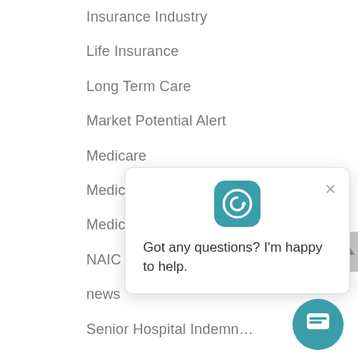Insurance Industry
Life Insurance
Long Term Care
Market Potential Alert
Medicare
Medicare Advantage
Medicare Supplement
NAIC Data
news
Senior Hospital Indemn…
Short-Term Care
Technology
Uncategorized
[Figure (screenshot): Chat popup with icon and message: 'Got any questions? I'm happy to help.' with close button, and teal chat button at bottom right.]